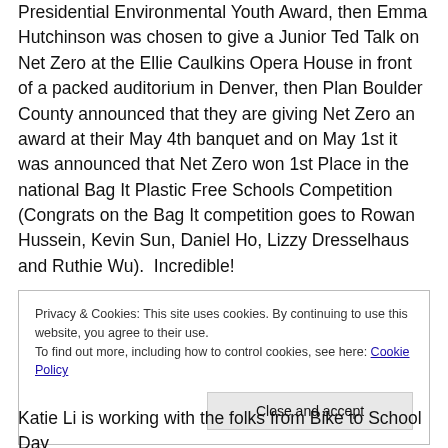Presidential Environmental Youth Award, then Emma Hutchinson was chosen to give a Junior Ted Talk on Net Zero at the Ellie Caulkins Opera House in front of a packed auditorium in Denver, then Plan Boulder County announced that they are giving Net Zero an award at their May 4th banquet and on May 1st it was announced that Net Zero won 1st Place in the national Bag It Plastic Free Schools Competition (Congrats on the Bag It competition goes to Rowan Hussein, Kevin Sun, Daniel Ho, Lizzy Dresselhaus and Ruthie Wu).  Incredible!
Privacy & Cookies: This site uses cookies. By continuing to use this website, you agree to their use. To find out more, including how to control cookies, see here: Cookie Policy
Katie Li is working with the folks from Bike to School Day